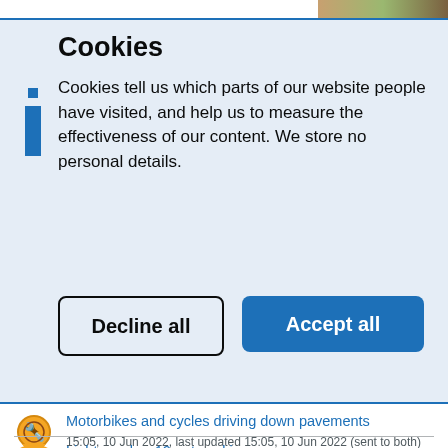[Figure (photo): Partial landscape/outdoor photo strip at top right corner]
Cookies
Cookies tell us which parts of our website people have visited, and help us to measure the effectiveness of our content. We store no personal details.
Decline all
Accept all
Motorbikes and cycles driving down pavements
15:05, 10 Jun 2022, last updated 15:05, 10 Jun 2022 (sent to both)
Light number 12 not working